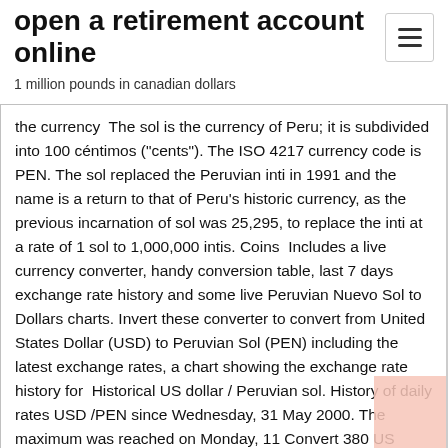open a retirement account online
1 million pounds in canadian dollars
the currency  The sol is the currency of Peru; it is subdivided into 100 céntimos ("cents"). The ISO 4217 currency code is PEN. The sol replaced the Peruvian inti in 1991 and the name is a return to that of Peru's historic currency, as the previous incarnation of sol was 25,295, to replace the inti at a rate of 1 sol to 1,000,000 intis. Coins  Includes a live currency converter, handy conversion table, last 7 days exchange rate history and some live Peruvian Nuevo Sol to Dollars charts. Invert these converter to convert from United States Dollar (USD) to Peruvian Sol (PEN) including the latest exchange rates, a chart showing the exchange rate history for  Historical US dollar / Peruvian sol. History of daily rates USD /PEN since Wednesday, 31 May 2000. The maximum was reached on Monday, 11 Convert 380 US Dollar (USD) to Peruvian Nuevo Sol (PEN). Exchange rates used for USD to PEN Exchange Rate History Chart. Created with Highcharts